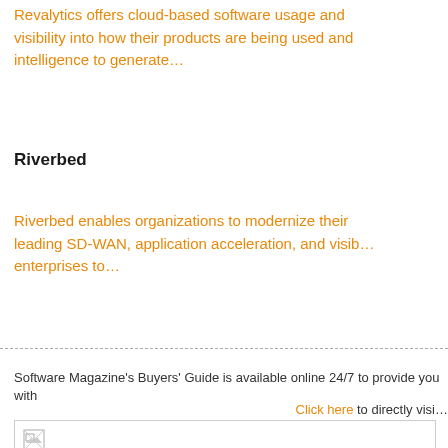Revalytics offers cloud-based software usage and visibility into how their products are being used and intelligence to generate…
Riverbed
Riverbed enables organizations to modernize their leading SD-WAN, application acceleration, and visibility enterprises to…
Software Magazine's Buyers' Guide is available online 24/7 to provide you with
Click here to directly visi…
[Figure (photo): Placeholder image box with broken image icon in top-left corner]